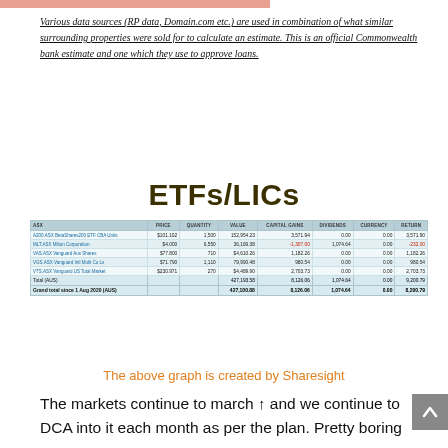Various data sources (RP data, Domain.com etc.) are used in combination of what similar surrounding properties were sold for to calculate an estimate. This is an official Commonwealth bank estimate and one which they use to approve loans.
ETFs/LICs
| ASX | PRICE | QUANTITY | VALUE | CAPITAL GAINS | DIVIDENDS | CURRENCY | RETURN |
| --- | --- | --- | --- | --- | --- | --- | --- |
| A200.ASX BetaShares200 ETF CBA Units | $101.102 | 1,500 | 152,954.23 | 3,571.94 | 0.00 | 0.00 | 3,571.90 |
| MLT.ASX Milton Corporation | $4.000 | 6,550 | 36,169.38 | -1,307.00 | 1,074.64 | 0.00 | -232.00 |
| VAS.ASX Vanguard Aus Shares | $77.800 | 710 | $4,610.26 | 1,182.26 | 0.00 | 0.00 | 1,182.26 |
| VGS.ASX Vanguard Intl Multi Co Ls | $71.790 | 1,110 | 79,990.48 | 980.54 | 0.00 | 0.00 | 980.54 |
| VTS.ASX Vanguard US Total Market | $230.971 | 270 | $4,489.90 | 2,703.73 | 0.00 | 0.00 | 2,703.73 |
| Total (AUS) |  |  | 427,193.58 | 8,126.06 | 1,074.64 | 0.00 | 9,200.79 |
| Grand total since 1 Aug 2020 (AUS) |  |  | 427,100.88 | 8,126.06 | 1,074.64 | 0.00 | 8,200.79 |
The above graph is created by Sharesight
The markets continue to march ↑ and we continue to DCA into it each month as per the plan. Pretty boring